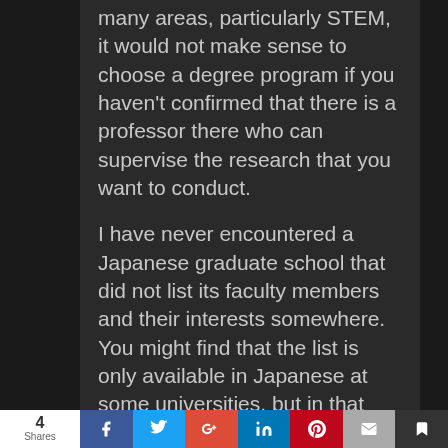many areas, particularly STEM, it would not make sense to choose a degree program if you haven't confirmed that there is a professor there who can supervise the research that you want to conduct.
I have never encountered a Japanese graduate school that did not list its faculty members and their interests somewhere. You might find that the list is only available in Japanese at some universities, but in that case, you should probably question how committed that university is to serving international students and consider a different university.
4 Shares | Facebook | Twitter | Google+ | LinkedIn | Pinterest | Email | Bookmark